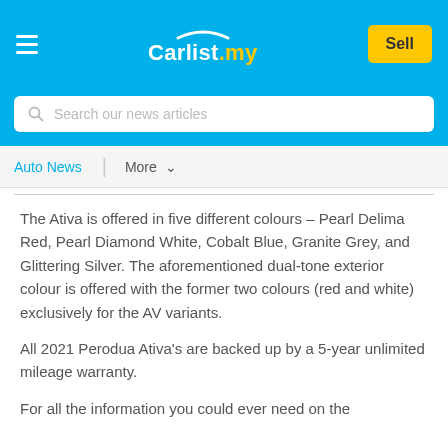Carlist.my — Sell
[Figure (screenshot): Carlist.my website header with navigation bar and search box]
The Ativa is offered in five different colours – Pearl Delima Red, Pearl Diamond White, Cobalt Blue, Granite Grey, and Glittering Silver. The aforementioned dual-tone exterior colour is offered with the former two colours (red and white) exclusively for the AV variants.
All 2021 Perodua Ativa's are backed up by a 5-year unlimited mileage warranty.
For all the information you could ever need on the